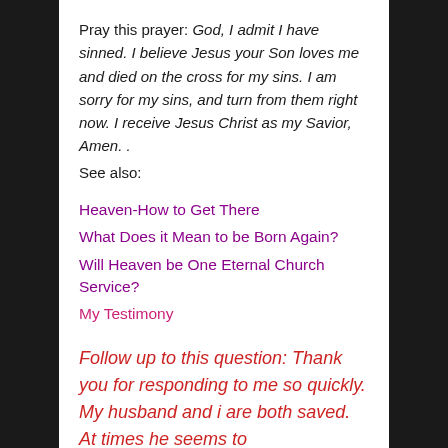Pray this prayer: God, I admit I have sinned. I believe Jesus your Son loves me and died on the cross for my sins. I am sorry for my sins, and turn from them right now. I receive Jesus Christ as my Savior, Amen. .
See also:
Heaven-How to Get There
What Does it Mean to be Born Again?
Will Heaven be One Eternal Church Service?
My Testimony
Follow up to this question: Thank you for responding to me so quickly. My husband and i are both saved. At times he seems to